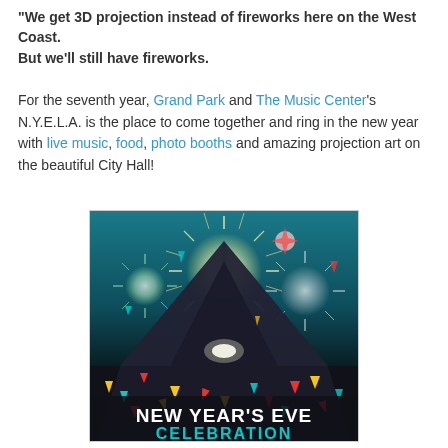"We get 3D projection instead of fireworks here on the West Coast.
But we'll still have fireworks.
For the seventh year, Grand Park and The Music Center's N.Y.E.L.A. is the place to come together and ring in the new year with live music, food, photo booths and amazing projection art on the beautiful City Hall!
[Figure (illustration): New Year's Eve celebration promotional image showing fireworks over a dark silhouetted building with colorful confetti triangles. Text at bottom reads 'NEW YEAR'S EVE CELEBRATION' in bold white and teal letters.]